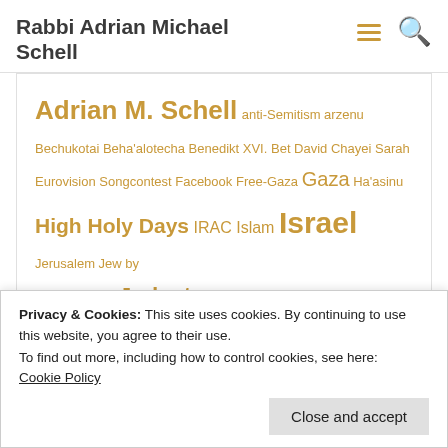Rabbi Adrian Michael Schell
Topics
[Figure (infographic): Tag cloud with gold-colored topic links of varying sizes: Adrian M. Schell (large), anti-Semitism, arzenu, Bechukotai, Beha'alotecha, Benedikt XVI., Bet David, Chayei Sarah, Eurovision Songcontest, Facebook, Free-Gaza, Gaza (large), Ha'asinu, High Holy Days (large), IRAC, Islam, Israel (largest), Jerusalem, Jew by Choice, Juden, Judentum (large), Karfreitagsfürbitte, Lech Lecha, Mishkan ha Nefesh (large), Nah-Ost-Konflikt, Noach, Omer, Palästina, Papst, Pesach, Pessach, Pinchas, Prayer, Progressive Judaism (large)]
Privacy & Cookies: This site uses cookies. By continuing to use this website, you agree to their use.
To find out more, including how to control cookies, see here:
Cookie Policy
Close and accept